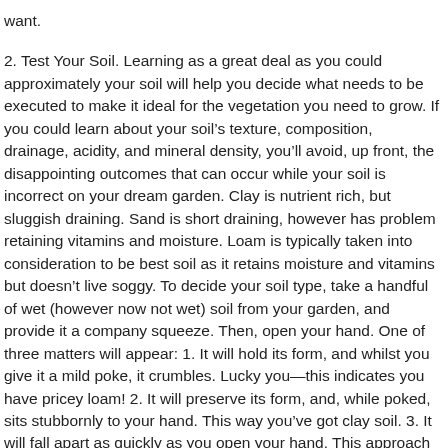want.
2. Test Your Soil. Learning as a great deal as you could approximately your soil will help you decide what needs to be executed to make it ideal for the vegetation you need to grow. If you could learn about your soil’s texture, composition, drainage, acidity, and mineral density, you’ll avoid, up front, the disappointing outcomes that can occur while your soil is incorrect on your dream garden. Clay is nutrient rich, but sluggish draining. Sand is short draining, however has problem retaining vitamins and moisture. Loam is typically taken into consideration to be best soil as it retains moisture and vitamins but doesn’t live soggy. To decide your soil type, take a handful of wet (however now not wet) soil from your garden, and provide it a company squeeze. Then, open your hand. One of three matters will appear: 1. It will hold its form, and whilst you give it a mild poke, it crumbles. Lucky you—this indicates you have pricey loam! 2. It will preserve its form, and, while poked, sits stubbornly to your hand. This way you’ve got clay soil. 3. It will fall apart as quickly as you open your hand. This approach you have got